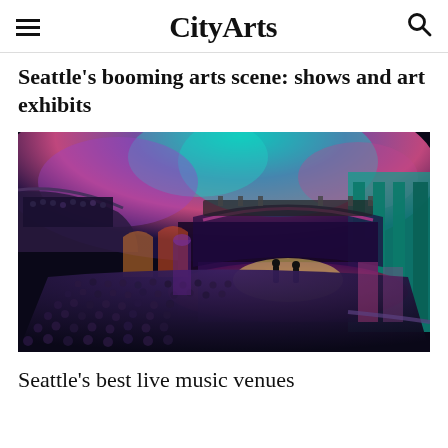CityArts
Seattle's booming arts scene: shows and art exhibits
[Figure (photo): Wide-angle fisheye view of a large ornate concert hall filled with audience, colorful stage lighting in teal, purple and pink illuminating the ceiling and walls, performers on stage]
Seattle's best live music venues